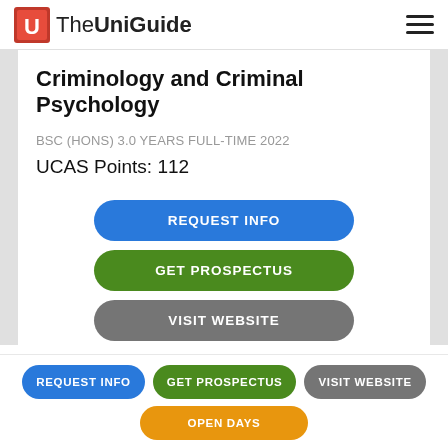TheUniGuide
Criminology and Criminal Psychology
BSC (HONS) 3.0 YEARS FULL-TIME 2022
UCAS Points: 112
REQUEST INFO
GET PROSPECTUS
VISIT WEBSITE
REQUEST INFO
GET PROSPECTUS
VISIT WEBSITE
OPEN DAYS